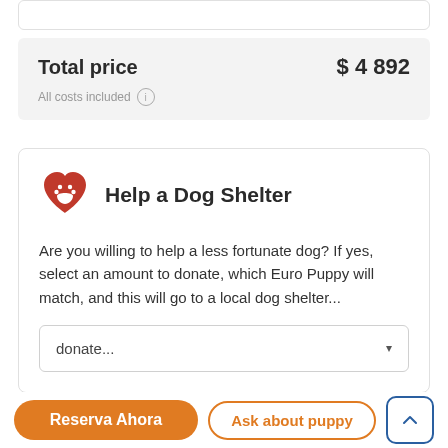Total price   $ 4 892
All costs included
Help a Dog Shelter
Are you willing to help a less fortunate dog? If yes, select an amount to donate, which Euro Puppy will match, and this will go to a local dog shelter...
donate...
Reserva Ahora
Ask about puppy